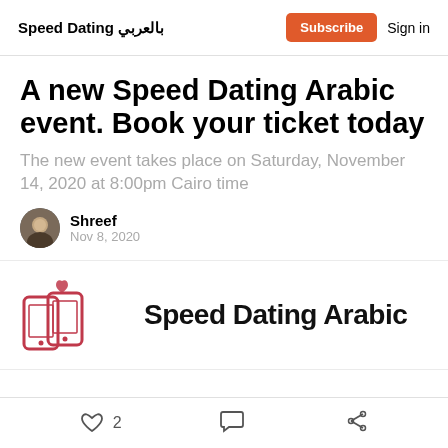Speed Dating بالعربي
A new Speed Dating Arabic event. Book your ticket today
The new event takes place on Saturday, November 14, 2020 at 8:00pm Cairo time
Shreef
Nov 8, 2020
[Figure (logo): Speed Dating Arabic logo with two phones and a heart icon and text 'Speed Dating Arabic']
2  (comment icon)  (share icon)